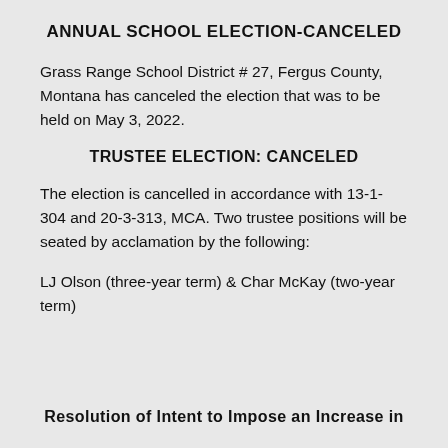ANNUAL SCHOOL ELECTION-CANCELED
Grass Range School District # 27, Fergus County, Montana has canceled the election that was to be held on May 3, 2022.
TRUSTEE ELECTION: CANCELED
The election is cancelled in accordance with 13-1-304 and 20-3-313, MCA. Two trustee positions will be seated by acclamation by the following:
LJ Olson (three-year term) & Char McKay (two-year term)
Resolution of Intent to Impose an Increase in